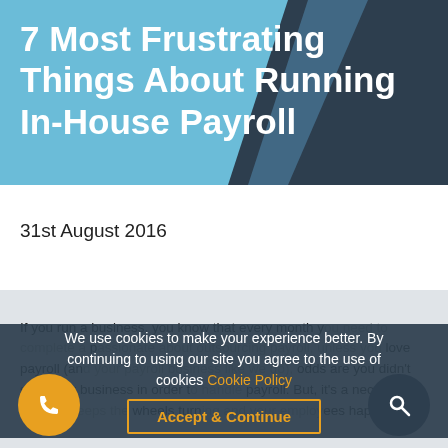[Figure (illustration): Blue and dark teal geometric hero banner background with overlapping angular shapes]
7 Most Frustrating Things About Running In-House Payroll
31st August 2016
If you run a business, you know that every month you need to complete a number of time-consuming payroll processes. Unless you're passionate about outsourcing payroll, unless you love payroll (and your payroll business like we do), odds are you didn't start your business in order to handle payroll. But, it's a necessary evil that keeps the wheels turning and your employees happy.
We use cookies to make your experience better. By continuing to using our site you agree to the use of cookies Cookie Policy
Accept & Continue